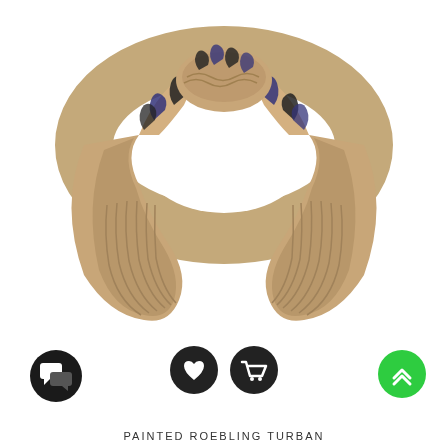[Figure (photo): A tan/khaki woven fabric turban-style headband with painted dark stripes (black and purple/blue diagonal marks) and a twisted center knot. The headband is shown from a front-facing angle displaying the open arc shape with ribbed interior lining visible on both sides.]
[Figure (other): Three circular icon buttons at bottom: left dark circle with chat/speech bubble icon, center two dark circles with heart icon and shopping cart icon, right green circle with upward chevron arrow icon.]
PAINTED ROEBLING TURBAN